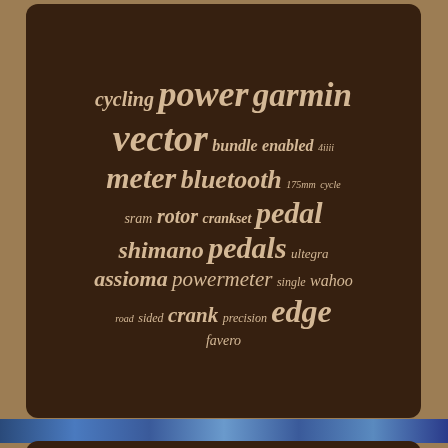[Figure (infographic): Tag cloud with cycling-related keywords in various sizes on a dark brown rounded panel. Words include: cycling, power, garmin, vector, bundle, enabled, 4iiii, meter, bluetooth, 175mm, cycle, sram, rotor, crankset, pedal, shimano, pedals, ultegra, assioma, powermeter, single, wahoo, road, sided, crank, precision, edge, favero]
Home
Contact
Privacy Policies
Terms of service